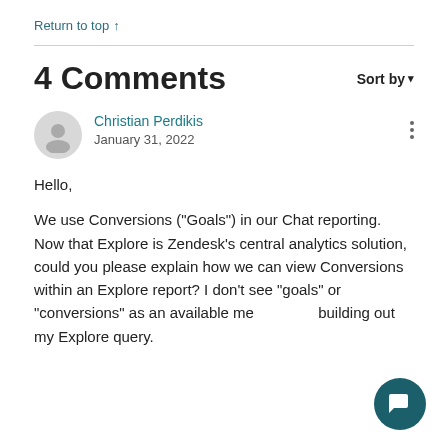Return to top ↑
4 Comments
Sort by ▼
Christian Perdikis
January 31, 2022
Hello,

We use Conversions ("Goals") in our Chat reporting. Now that Explore is Zendesk's central analytics solution, could you please explain how we can view Conversions within an Explore report? I don't see "goals" or "conversions" as an available metric when building out my Explore query.